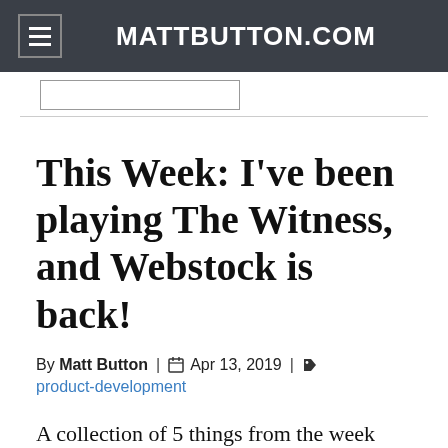MATTBUTTON.COM
This Week: I've been playing The Witness, and Webstock is back!
By Matt Button | Apr 13, 2019 | product-development
A collection of 5 things from the week that I found interesting, am enjoying, or am working on.
This week: